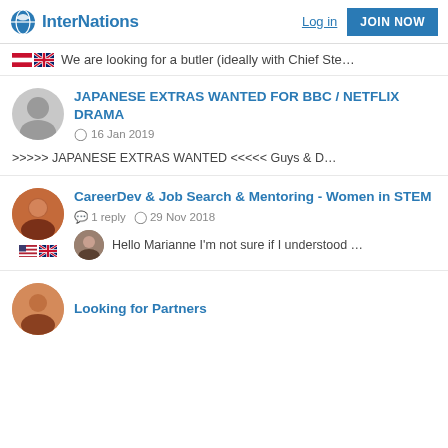InterNations  Log in  JOIN NOW
We are looking for a butler (ideally with Chief Ste…
JAPANESE EXTRAS WANTED FOR BBC / NETFLIX DRAMA
16 Jan 2019
>>>>> JAPANESE EXTRAS WANTED <<<<< Guys & D…
CareerDev & Job Search & Mentoring - Women in STEM
1 reply  29 Nov 2018
Hello Marianne I'm not sure if I understood …
Looking for Partners